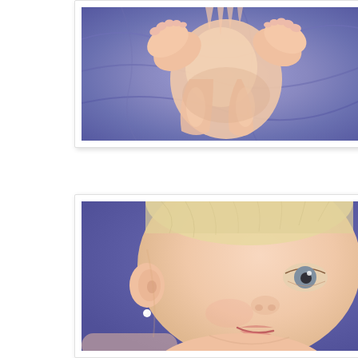[Figure (photo): Close-up photo of infant baby feet and chubby legs/torso resting on blue/purple fabric or cloth background. The baby's body parts appear soft pink against the blue textile.]
[Figure (photo): Close-up portrait photo of a young infant/baby with very short blonde hair, blue/grey eyes, pearl stud earring, and a slight smirk or smile expression. Background is blue/purple. Baby appears to be looking down and to the side.]